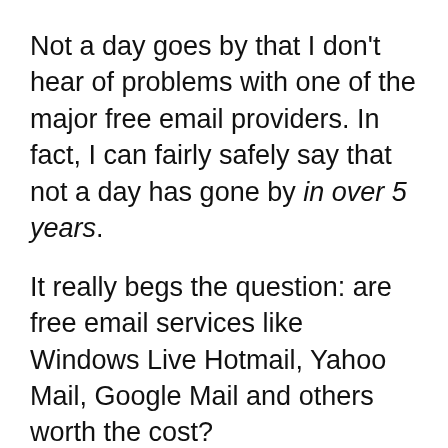Not a day goes by that I don't hear of problems with one of the major free email providers. In fact, I can fairly safely say that not a day has gone by in over 5 years.
It really begs the question: are free email services like Windows Live Hotmail, Yahoo Mail, Google Mail and others worth the cost?
My position: Yes.
And: Absolutely Not.
As always, it depends on your needs